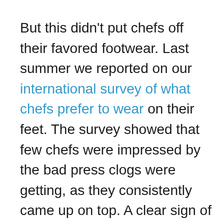But this didn't put chefs off their favored footwear. Last summer we reported on our international survey of what chefs prefer to wear on their feet. The survey showed that few chefs were impressed by the bad press clogs were getting, as they consistently came up on top. A clear sign of just how much chefs love them.